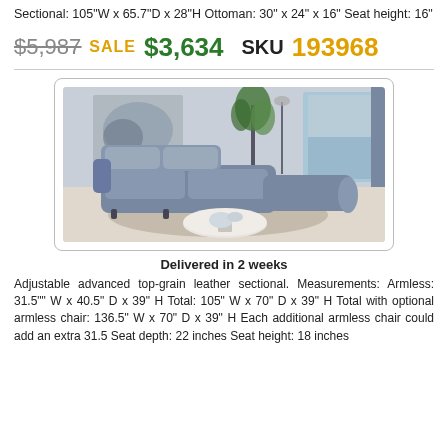Sectional: 105"W x 65.7"D x 28"H Ottoman: 30" x 24" x 16" Seat height: 16"
$5,987 SALE $3,634   SKU 193968
[Figure (photo): Gray leather recliner sectional sofa with chaise in a modern living room setting with a plant, abstract wall art, and ocean view through large windows. A round coffee table sits in front.]
Delivered in 2 weeks
Adjustable advanced top-grain leather sectional. Measurements: Armless: 31.5"" W x 40.5" D x 39" H Total: 105" W x 70" D x 39" H Total with optional armless chair: 136.5" W x 70" D x 39" H Each additional armless chair could add an extra 31.5 Seat depth: 22 inches Seat height: 18 inches